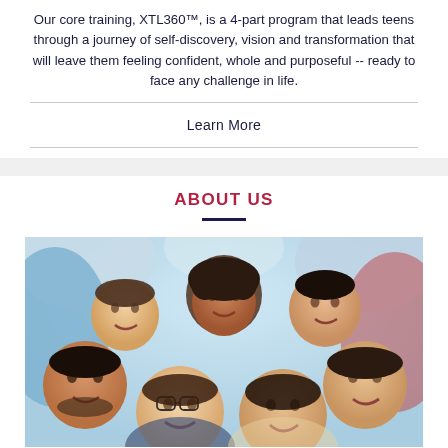Our core training, XTL360™, is a 4-part program that leads teens through a journey of self-discovery, vision and transformation that will leave them feeling confident, whole and purposeful -- ready to face any challenge in life.
Learn More
ABOUT US
[Figure (photo): Group of diverse smiling teenagers huddled together looking down at the camera from above, viewed from a low angle against a light blue sky background.]